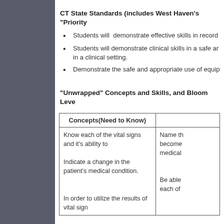CT State Standards (includes West Haven's "Priority"
Students will  demonstrate effective skills in record
Students will demonstrate clinical skills in a safe and in a clinical setting.
Demonstrate the safe and appropriate use of equip
"Unwrapped" Concepts and Skills, and Bloom Leve
| Concepts(Need to Know) |  |
| --- | --- |
| Know each of the vital signs and it's ability to

Indicate a change in the patient's medical condition. | Name th become medical |
| In order to utilize the results of vital sign | Be able each of |